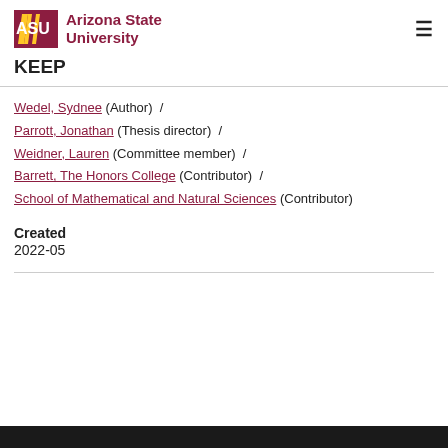Arizona State University / KEEP
Wedel, Sydnee (Author) / Parrott, Jonathan (Thesis director) / Weidner, Lauren (Committee member) / Barrett, The Honors College (Contributor) / School of Mathematical and Natural Sciences (Contributor)
Created
2022-05